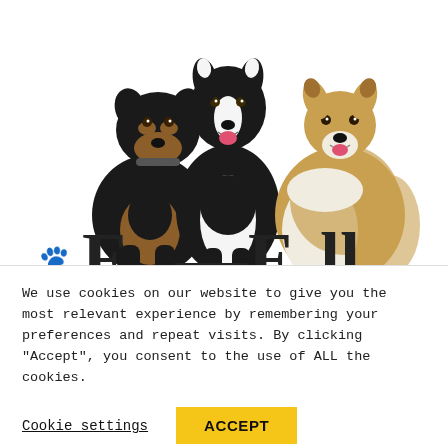[Figure (illustration): Three dogs sitting together — a Rottweiler on the left, a black and white Border Collie in the center, and a Shetland Sheepdog (Sheltie) on the right. Below the dogs is a partially visible logo with a paw print and large serif letters.]
We use cookies on our website to give you the most relevant experience by remembering your preferences and repeat visits. By clicking "Accept", you consent to the use of ALL the cookies.
Cookie settings  ACCEPT